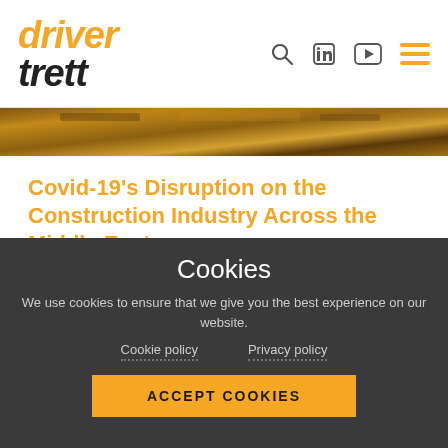driver trett — navigation header with logo and icons
[Figure (photo): Construction site image strip — partial view of construction materials in warm brown/orange tones]
Covid-19's Disruption on the Construction Industry Across the Middle East
Phil Duggan, Regional Head of Diales in the Middle East, discusses the impact of Covid-19 on the construction industry and its affects across the regi...
Cookies
We use cookies to ensure that we give you the best experience on our website.
Cookie policy   Privacy policy
ACCEPT COOKIES